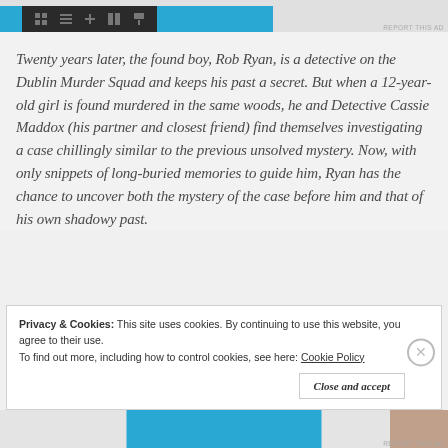[Figure (screenshot): Ad banner at top with blue elements and dark toolbar]
Twenty years later, the found boy, Rob Ryan, is a detective on the Dublin Murder Squad and keeps his past a secret. But when a 12-year-old girl is found murdered in the same woods, he and Detective Cassie Maddox (his partner and closest friend) find themselves investigating a case chillingly similar to the previous unsolved mystery. Now, with only snippets of long-buried memories to guide him, Ryan has the chance to uncover both the mystery of the case before him and that of his own shadowy past.
Privacy & Cookies: This site uses cookies. By continuing to use this website, you agree to their use.
To find out more, including how to control cookies, see here: Cookie Policy
Close and accept